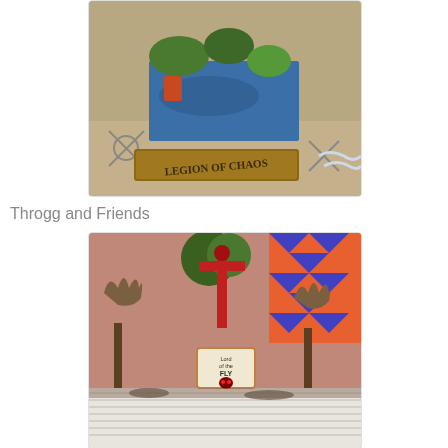[Figure (photo): Close-up photo of painted miniature figurines on a game board. Features a wooden sign reading 'LEGION OF CHAOS' in carved lettering, with green and blue painted miniatures arranged on a dark base. Sandy terrain visible in background.]
Throgg and Friends
[Figure (photo): Photo of painted tabletop miniature figurines on a white-striped wooden display. Features tree-like creature miniatures and a sign reading 'Lord of the Fly' with a skull icon. Colorful patterned backdrop visible in upper right corner.]